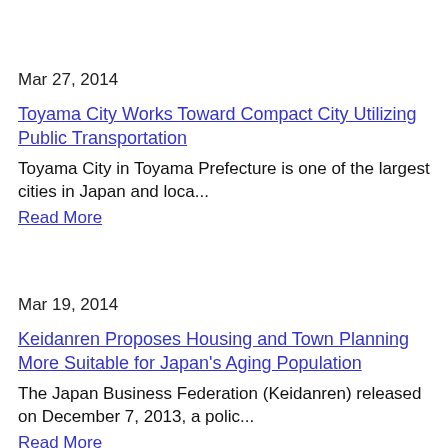Mar 27, 2014
Toyama City Works Toward Compact City Utilizing Public Transportation
Toyama City in Toyama Prefecture is one of the largest cities in Japan and loca...
Read More
Mar 19, 2014
Keidanren Proposes Housing and Town Planning More Suitable for Japan's Aging Population
The Japan Business Federation (Keidanren) released on December 7, 2013, a polic...
Read More